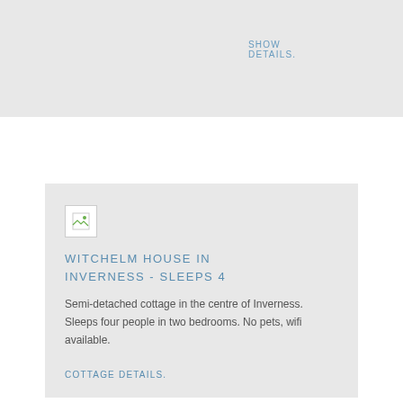SHOW DETAILS.
Other Properties Nearby:
[Figure (photo): Broken image placeholder thumbnail]
WITCHELM HOUSE IN INVERNESS - SLEEPS 4
Semi-detached cottage in the centre of Inverness. Sleeps four people in two bedrooms. No pets, wifi available.
COTTAGE DETAILS.